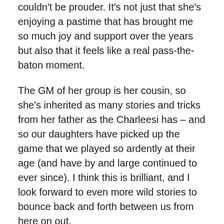couldn't be prouder. It's not just that she's enjoying a pastime that has brought me so much joy and support over the years but also that it feels like a real pass-the-baton moment.
The GM of her group is her cousin, so she's inherited as many stories and tricks from her father as the Charleesi has – and so our daughters have picked up the game that we played so ardently at their age (and have by and large continued to ever since). I think this is brilliant, and I look forward to even more wild stories to bounce back and forth between us from here on out.
I have, of course, made all my books and pdfs available to the Charleesi so that she can cause as much trouble as possible – I mean, so that she can explore opportunities in the game as broadly as possible.